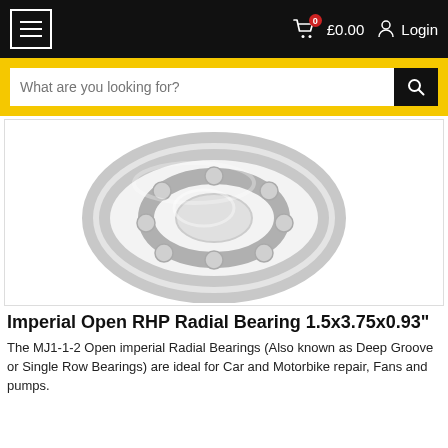☰  £0.00  Login
[Figure (screenshot): Search bar with yellow background and text input 'What are you looking for?']
[Figure (photo): A silver/chrome open radial ball bearing (RHP MJ1-1-2), shown at an angle on a white background, revealing the balls and inner race.]
Imperial Open RHP Radial Bearing 1.5x3.75x0.93"
The MJ1-1-2 Open imperial Radial Bearings (Also known as Deep Groove or Single Row Bearings) are ideal for Car and Motorbike repair, Fans and pumps.